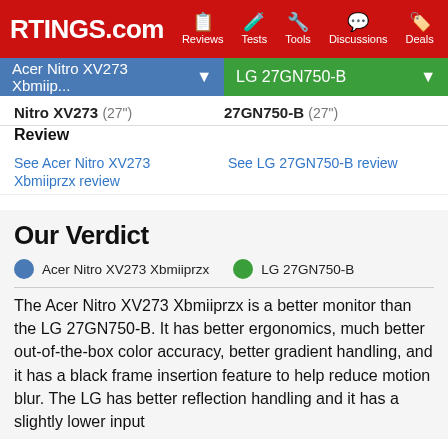RTINGS.com | Reviews | Tests | Tools | Discussions | Deals
Acer Nitro XV273 Xbmiip... | LG 27GN750-B
Nitro XV273 (27") | 27GN750-B (27")
Review
See Acer Nitro XV273 Xbmiiprzx review
See LG 27GN750-B review
Our Verdict
Acer Nitro XV273 Xbmiiprzx    LG 27GN750-B
The Acer Nitro XV273 Xbmiiprzx is a better monitor than the LG 27GN750-B. It has better ergonomics, much better out-of-the-box color accuracy, better gradient handling, and it has a black frame insertion feature to help reduce motion blur. The LG has better reflection handling and it has a slightly lower input